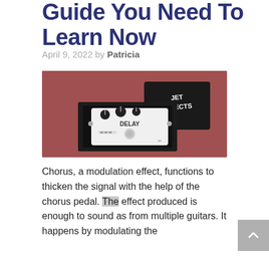Guide You Need To Learn Now
April 9, 2022 by Patricia
[Figure (photo): A white delay guitar effects pedal with black knobs sitting in a black box, next to the box lid labeled 'JET EFFECTS', on a reddish-brown background.]
Chorus, a modulation effect, functions to thicken the signal with the help of the chorus pedal. The effect produced is enough to sound as from multiple guitars. It happens by modulating the